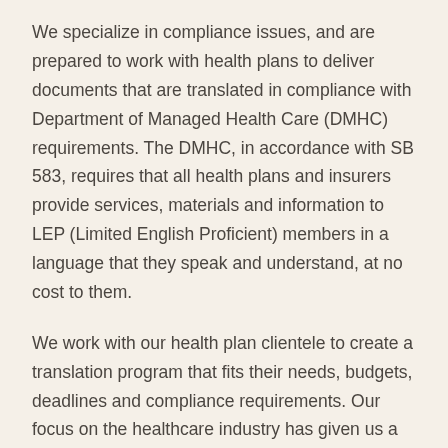We specialize in compliance issues, and are prepared to work with health plans to deliver documents that are translated in compliance with Department of Managed Health Care (DMHC) requirements. The DMHC, in accordance with SB 583, requires that all health plans and insurers provide services, materials and information to LEP (Limited English Proficient) members in a language that they speak and understand, at no cost to them.
We work with our health plan clientele to create a translation program that fits their needs, budgets, deadlines and compliance requirements. Our focus on the healthcare industry has given us a leading edge over other translation firms: We're experienced, prepared and fully qualified to handle healthcare translation projects of any scope and complexity.